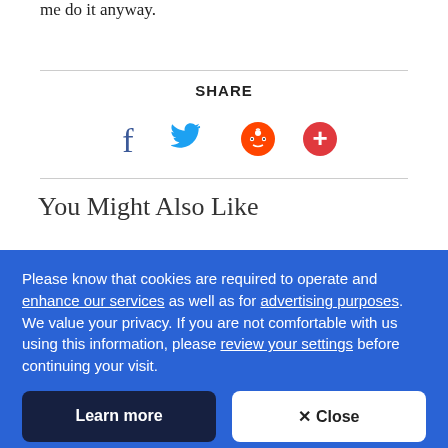me do it anyway.
SHARE
[Figure (infographic): Social share icons: Facebook (blue f), Twitter (blue bird), Reddit (red alien), Google+ or add (red circle with plus)]
You Might Also Like
Please know that cookies are required to operate and enhance our services as well as for advertising purposes. We value your privacy. If you are not comfortable with us using this information, please review your settings before continuing your visit.
Learn more
✕ Close